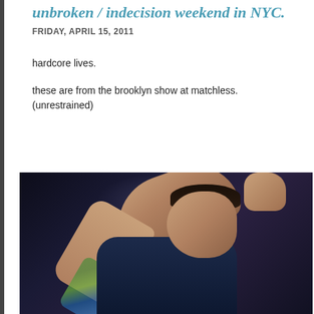unbroken / indecision weekend in NYC.
FRIDAY, APRIL 15, 2011
hardcore lives.
these are from the brooklyn show at matchless.
(unrestrained)
[Figure (photo): Concert photo of a performer with a tattooed arm raised, wearing a dark shirt, shown in profile against a dark stage background with dramatic lighting.]